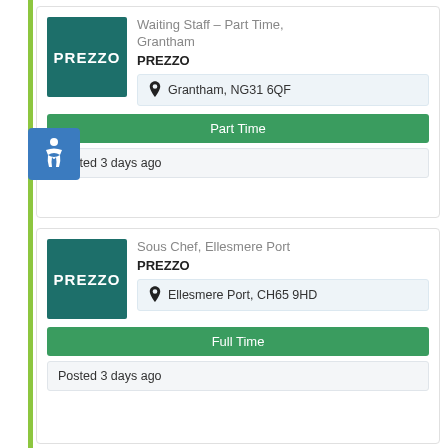[Figure (screenshot): Job listing card for 'Waiting Staff – Part Time, Grantham' at PREZZO, showing location Grantham NG31 6QF, Part Time badge, Posted 3 days ago]
Waiting Staff – Part Time, Grantham
PREZZO
Grantham, NG31 6QF
Part Time
Posted 3 days ago
[Figure (screenshot): Job listing card for 'Sous Chef, Ellesmere Port' at PREZZO, showing location Ellesmere Port CH65 9HD, Full Time badge, Posted 3 days ago]
Sous Chef, Ellesmere Port
PREZZO
Ellesmere Port, CH65 9HD
Full Time
Posted 3 days ago